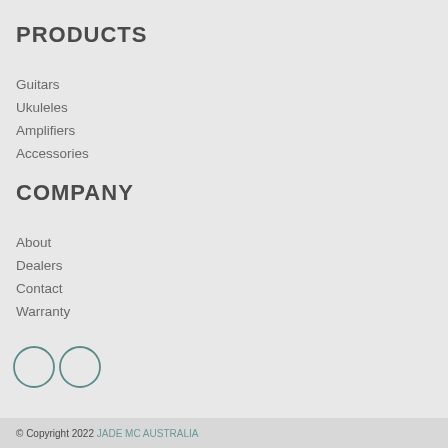PRODUCTS
Guitars
Ukuleles
Amplifiers
Accessories
COMPANY
About
Dealers
Contact
Warranty
[Figure (illustration): Two circular social media icon outlines (e.g. Facebook and another platform)]
© Copyright 2022 JADE MC AUSTRALIA